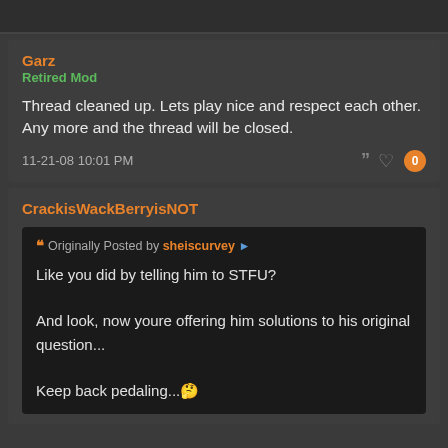Garz
Retired Mod
Thread cleaned up. Lets play nice and respect each other. Any more and the thread will be closed.
11-21-08 10:01 PM
CrackisWackBerryisNOT
Originally Posted by sheiscurvey
Like you did by telling him to STFU?

And look, now youre offering him solutions to his original question...

Keep back pedaling...